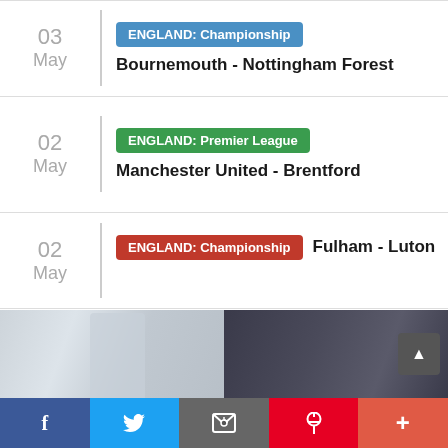03 May | ENGLAND: Championship | Bournemouth - Nottingham Forest
02 May | ENGLAND: Premier League | Manchester United - Brentford
02 May | ENGLAND: Championship | Fulham - Luton
02 May | SPAIN: La Liga | Getafe - Real Betis
[Figure (photo): Two football players — one in white Real Madrid kit, one in dark PSG kit — in a Champions League match setting]
[Figure (infographic): Social media sharing bar with Facebook, Twitter, Email, Pinterest, and More buttons]